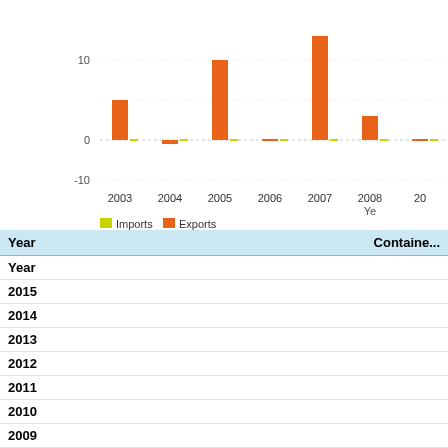[Figure (bar-chart): Vessel measured by kg]
Vessel measured b...
| Year | Containe... |
| --- | --- |
| 2015 |  |
| 2014 |  |
| 2013 |  |
| 2012 |  |
| 2011 |  |
| 2010 |  |
| 2009 |  |
| 2008 |  |
| 2007 |  |
| 2006 |  |
| 2005 |  |
| 2004 |  |
| 2003 |  |